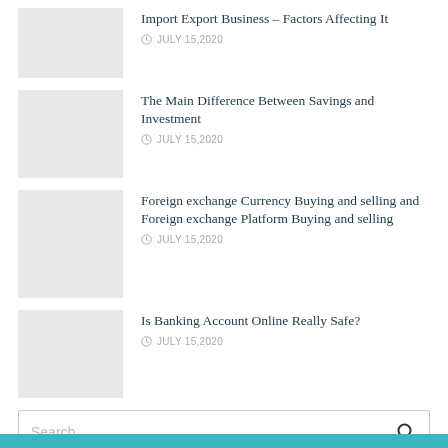[Figure (photo): Thumbnail image placeholder for article 1]
Import Export Business – Factors Affecting It
JULY 15,2020
[Figure (photo): Thumbnail image placeholder for article 2]
The Main Difference Between Savings and Investment
JULY 15,2020
[Figure (photo): Thumbnail image placeholder for article 3]
Foreign exchange Currency Buying and selling and Foreign exchange Platform Buying and selling
JULY 15,2020
[Figure (photo): Thumbnail image placeholder for article 4]
Is Banking Account Online Really Safe?
JULY 15,2020
Search...